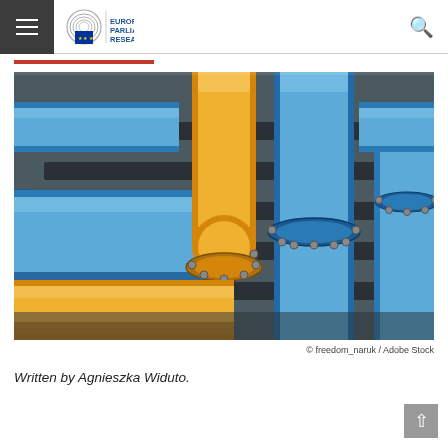European Parliamentary Research Service
[Figure (photo): Close-up photograph of blue and yellow industrial gas pipes and fittings outdoors]
© freedom_naruk / Adobe Stock
Written by Agnieszka Widuto.